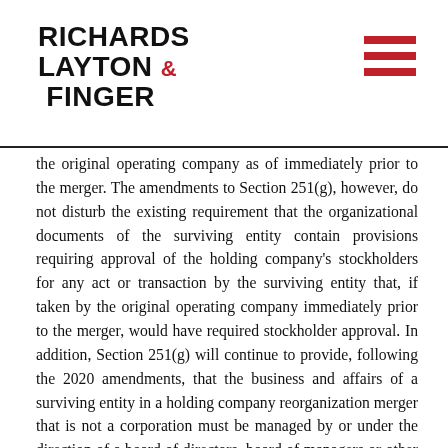Richards Layton & Finger
the original operating company as of immediately prior to the merger. The amendments to Section 251(g), however, do not disturb the existing requirement that the organizational documents of the surviving entity contain provisions requiring approval of the holding company's stockholders for any act or transaction by the surviving entity that, if taken by the original operating company immediately prior to the merger, would have required stockholder approval. In addition, Section 251(g) will continue to provide, following the 2020 amendments, that the business and affairs of a surviving entity in a holding company reorganization merger that is not a corporation must be managed by or under the direction of a board of directors, board of managers or other governing body consisting of individuals who are subject to the same fiduciary duties applicable to, and who are liable for breach of such duties to the same extent as, directors of a Delaware